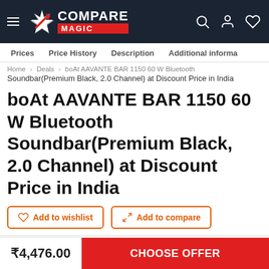Compare Magic
Prices  Price History  Description  Additional informa
Home > Deals > boAt AAVANTE BAR 1150 60 W Bluetooth Soundbar(Premium Black, 2.0 Channel) at Discount Price in India
boAt AAVANTE BAR 1150 60 W Bluetooth Soundbar(Premium Black, 2.0 Channel) at Discount Price in India
Add to wishlist  Add to compare
[Figure (photo): boAt AAVANTE BAR 1150 soundbar product image in black with -55% discount badge]
₹4,476.00  CHOOSE OFFER